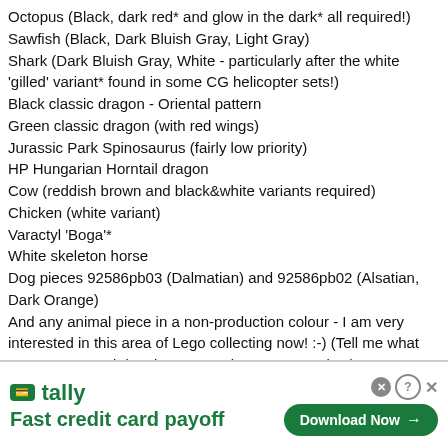Octopus (Black, dark red* and glow in the dark* all required!)
Sawfish (Black, Dark Bluish Gray, Light Gray)
Shark (Dark Bluish Gray, White - particularly after the white 'gilled' variant* found in some CG helicopter sets!)
Black classic dragon - Oriental pattern
Green classic dragon (with red wings)
Jurassic Park Spinosaurus (fairly low priority)
HP Hungarian Horntail dragon
Cow (reddish brown and black&white variants required)
Chicken (white variant)
Varactyl 'Boga'*
White skeleton horse
Dog pieces 92586pb03 (Dalmatian) and 92586pb02 (Alsatian, Dark Orange)
And any animal piece in a non-production colour - I am very interested in this area of Lego collecting now! :-) (Tell me what you got, e.g. red dog, in a PM and name your price!)
Trades of any size welcome, but as they say, the bigger the better! :-)
[Figure (screenshot): Advertisement banner for Tally app - Fast credit card payoff with Download Now button]